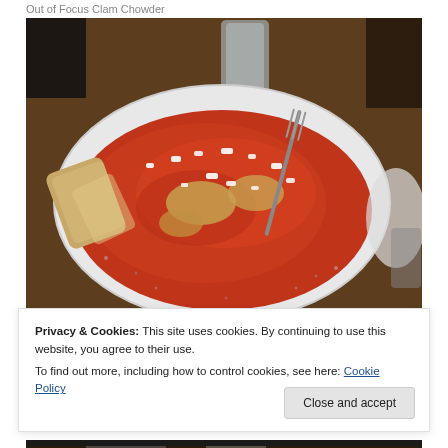Out of Focus Clam Chowder
[Figure (photo): A white plate with food covered in red/orange tomato sauce, crumbled white cheese (feta), a fork, and bread slices on the side. A glass of water and condiments visible in background on a wooden table.]
Privacy & Cookies: This site uses cookies. By continuing to use this website, you agree to their use.
To find out more, including how to control cookies, see here: Cookie Policy
[Figure (photo): Partial view of another food dish at the bottom of the page.]